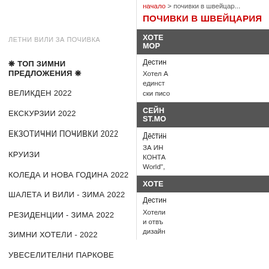начало > почивки в швейцар...
ПОЧИВКИ В ШВЕЙЦАРИЯ
ЛЕТНИ ВИЛИ ЗА ПОЧИВКА
❋ ТОП ЗИМНИ ПРЕДЛОЖЕНИЯ ❋
ВЕЛИКДЕН 2022
ЕКСКУРЗИИ 2022
ЕКЗОТИЧНИ ПОЧИВКИ 2022
КРУИЗИ
КОЛЕДА И НОВА ГОДИНА 2022
ШАЛЕТА И ВИЛИ - ЗИМА 2022
РЕЗИДЕНЦИИ - ЗИМА 2022
ЗИМНИ ХОТЕЛИ - 2022
УВЕСЕЛИТЕЛНИ ПАРКОВЕ
ХОТЕ МОР
Дестин
Хотел А единст ски писо
СЕЙН ST.MO
Дестин
ЗА ИН КОНТА World",
ХОТЕ
Дестин
Хотели и отвъ дизайн